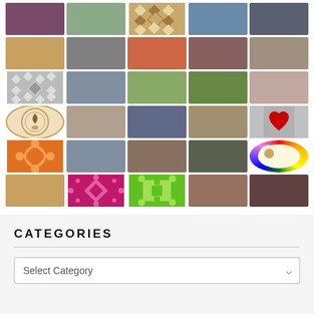[Figure (photo): A 5-column grid of profile avatar photos and pattern tiles showing various user profile pictures including portraits of women, men, couples, quilt patterns, an ink logo, a rainbow circle, a heart icon, and other avatars]
CATEGORIES